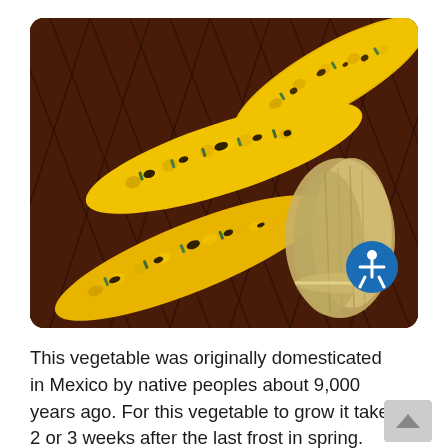[Figure (photo): Close-up photo of several ears of grilled corn on the cob with charred kernels, sprinkled with chopped green chives/herbs, laid on a dark wooden basket-weave surface. The corn is mostly yellow with blackened spots. One ear has its husk still attached and bundled with string. A blue accessibility icon (person in circle) is visible in the bottom-right corner of the image.]
This vegetable was originally domesticated in Mexico by native peoples about 9,000 years ago. For this vegetable to grow it takes 2 or 3 weeks after the last frost in spring. Corn is a